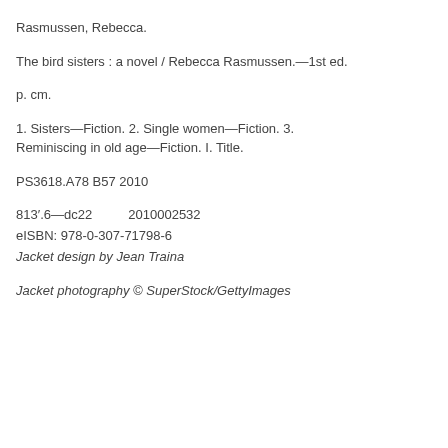Rasmussen, Rebecca.
The bird sisters : a novel / Rebecca Rasmussen.—1st ed.
p. cm.
1. Sisters—Fiction. 2. Single women—Fiction. 3. Reminiscing in old age—Fiction. I. Title.
PS3618.A78 B57 2010
813′.6—dc22          2010002532
eISBN: 978-0-307-71798-6
Jacket design by Jean Traina
Jacket photography © SuperStock/GettyImages